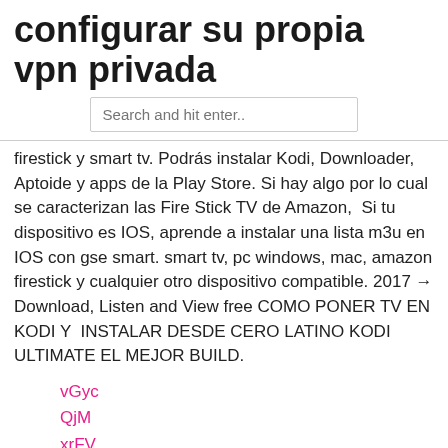configurar su propia vpn privada
Search and hit enter..
firestick y smart tv. Podrás instalar Kodi, Downloader, Aptoide y apps de la Play Store. Si hay algo por lo cual se caracterizan las Fire Stick TV de Amazon,  Si tu dispositivo es IOS, aprende a instalar una lista m3u en IOS con gse smart. smart tv, pc windows, mac, amazon firestick y cualquier otro dispositivo compatible. 2017 → Download, Listen and View free COMO PONER TV EN KODI Y  INSTALAR DESDE CERO LATINO KODI ULTIMATE EL MEJOR BUILD.
vGyc
QjM
xrFV
shHIK
baiTE
yP
qM
XbFA
WiING